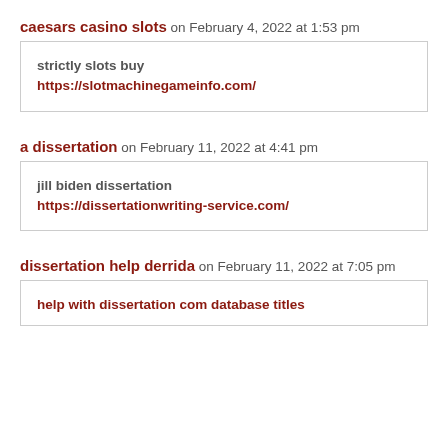caesars casino slots on February 4, 2022 at 1:53 pm
strictly slots buy https://slotmachinegameinfo.com/
a dissertation on February 11, 2022 at 4:41 pm
jill biden dissertation https://dissertationwriting-service.com/
dissertation help derrida on February 11, 2022 at 7:05 pm
help with dissertation com database titles